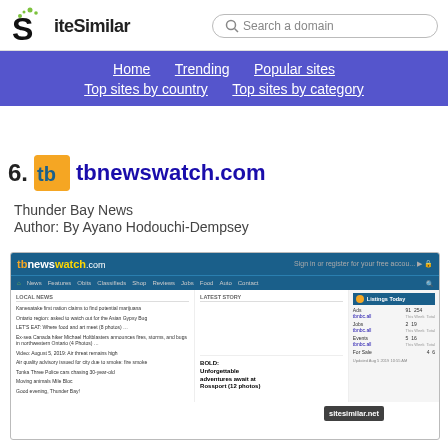SiteSimilar — Search a domain — Home | Trending | Popular sites | Top sites by country | Top sites by category
6. tbnewswatch.com
Thunder Bay News
Author: By Ayano Hodouchi-Dempsey
[Figure (screenshot): Screenshot of tbnewswatch.com website showing news headlines, local news section, listings sidebar with sitesimilar.net watermark]